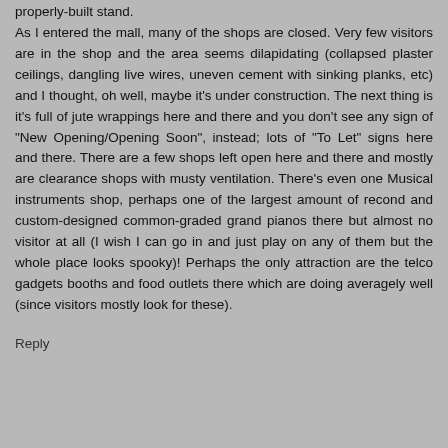properly-built stand. As I entered the mall, many of the shops are closed. Very few visitors are in the shop and the area seems dilapidating (collapsed plaster ceilings, dangling live wires, uneven cement with sinking planks, etc) and I thought, oh well, maybe it's under construction. The next thing is it's full of jute wrappings here and there and you don't see any sign of "New Opening/Opening Soon", instead; lots of "To Let" signs here and there. There are a few shops left open here and there and mostly are clearance shops with musty ventilation. There's even one Musical instruments shop, perhaps one of the largest amount of recond and custom-designed common-graded grand pianos there but almost no visitor at all (I wish I can go in and just play on any of them but the whole place looks spooky)! Perhaps the only attraction are the telco gadgets booths and food outlets there which are doing averagely well (since visitors mostly look for these).
Reply